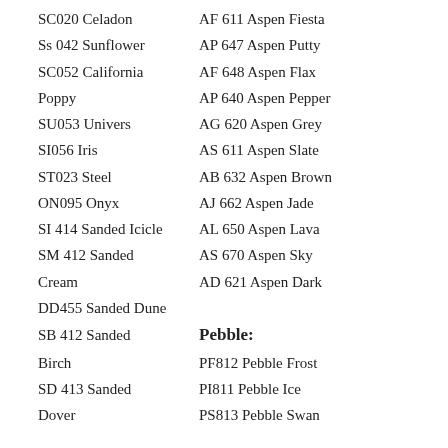SC020 Celadon | AF 611 Aspen Fiesta
Ss 042 Sunflower | AP 647 Aspen Putty
SC052 California | AF 648 Aspen Flax
Poppy | AP 640 Aspen Pepper
SU053 Univers | AG 620 Aspen Grey
SI056 Iris | AS 611 Aspen Slate
ST023 Steel | AB 632 Aspen Brown
ON095 Onyx | AJ 662 Aspen Jade
SI 414 Sanded Icicle | AL 650 Aspen Lava
SM 412 Sanded | AS 670 Aspen Sky
Cream | AD 621 Aspen Dark
DD455 Sanded Dune
SB 412 Sanded
Pebble:
Birch | PF812 Pebble Frost
SD 413 Sanded | PI811 Pebble Ice
Dover | PS813 Pebble Swan